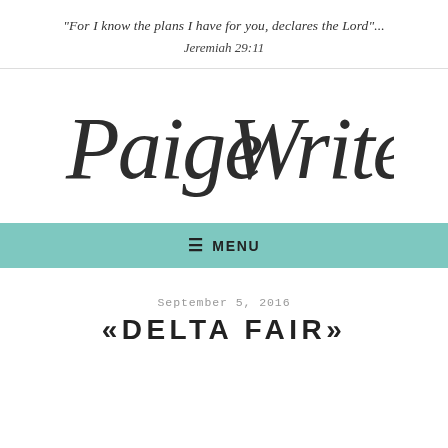“For I know the plans I have for you, declares the Lord”... Jeremiah 29:11
[Figure (logo): Paige Writes cursive script logo in dark charcoal color]
≡ MENU
September 5, 2016
«DELTA FAIR»